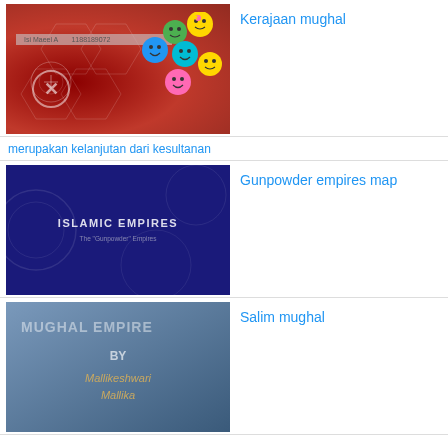[Figure (screenshot): Red background presentation slide thumbnail with smiley face emoji images and a student ID label]
Kerajaan mughal
merupakan kelanjutan dari kesultanan
[Figure (screenshot): Dark blue/purple slide thumbnail with text 'ISLAMIC EMPIRES' and subtitle 'The Gunpowder Empires']
Gunpowder empires map
[Figure (screenshot): Steel blue slide thumbnail with 'MUGHAL EMPIRE BY Mallikeshwari Mallika' text]
Salim mughal